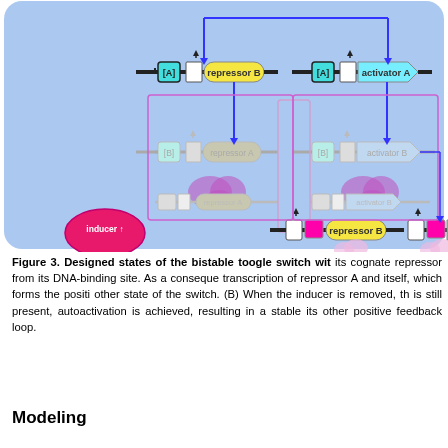[Figure (schematic): Diagram of bistable toggle switch designed states showing genetic circuit with repressor B, activator A, repressor A, activator B components with inducers, DNA binding sites, arrows indicating regulation, color-coded active/inactive states in two panels (A and B).]
Figure 3. Designed states of the bistable toogle switch wit... its cognate repressor from its DNA-binding site. As a consequen... transcription of repressor A and itself, which forms the positi... other state of the switch. (B) When the inducer is removed, th... is still present, autoactivation is achieved, resulting in a stable... its other positive feedback loop.
Modeling